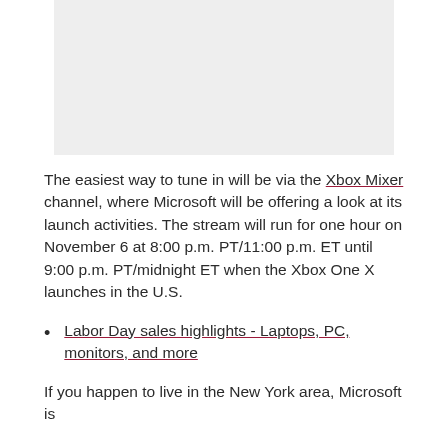[Figure (other): Gray placeholder image area at top of page]
The easiest way to tune in will be via the Xbox Mixer channel, where Microsoft will be offering a look at its launch activities. The stream will run for one hour on November 6 at 8:00 p.m. PT/11:00 p.m. ET until 9:00 p.m. PT/midnight ET when the Xbox One X launches in the U.S.
Labor Day sales highlights - Laptops, PC, monitors, and more
If you happen to live in the New York area, Microsoft is